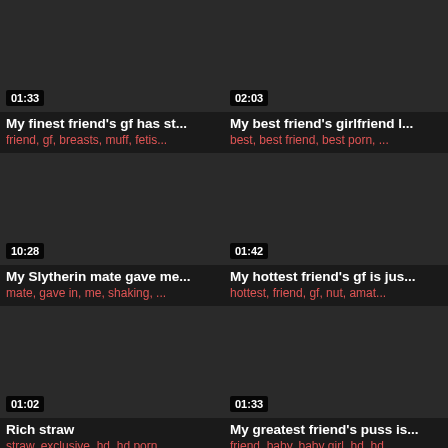[Figure (screenshot): Video thumbnail dark background, duration 01:33]
My finest friend's gf has st...
friend, gf, breasts, muff, fetis...
[Figure (screenshot): Video thumbnail dark background, duration 02:03]
My best friend's girlfriend l...
best, best friend, best porn, ...
[Figure (screenshot): Video thumbnail dark background, duration 10:28]
My Slytherin mate gave me...
mate, gave in, me, shaking, ...
[Figure (screenshot): Video thumbnail dark background, duration 01:42]
My hottest friend's gf is jus...
hottest, friend, gf, nut, amat...
[Figure (screenshot): Video thumbnail dark background, duration 01:02]
Rich straw
straw, exclusive, hd, hd porn, ...
[Figure (screenshot): Video thumbnail dark background, duration 01:33]
My greatest friend's puss is...
friend, baby, baby girl, hd, hd...